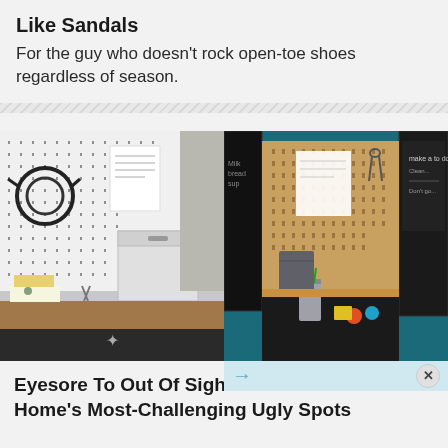Like Sandals
For the guy who doesn't rock open-toe shoes regardless of season.
[Figure (photo): Two side-by-side photos: left shows a white pegboard workspace with headphones, notes, a white storage box, and a wooden desk with craft supplies; right shows an open teal cabinet with a pegboard interior holding tools, scissors, notes, and a chalkboard door panel.]
Eyesore To Out Of Sight: 10 Ideas For Your Home's Most-Challenging Ugly Spots